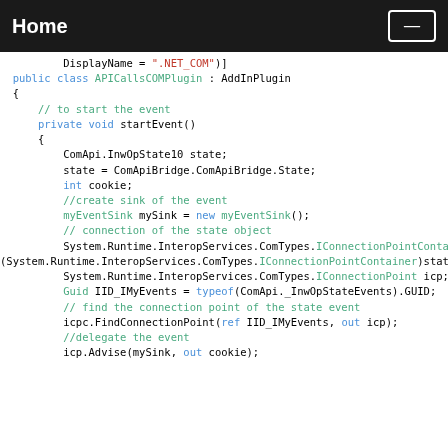Home
Code snippet showing C# plugin class with COM interop event connection code